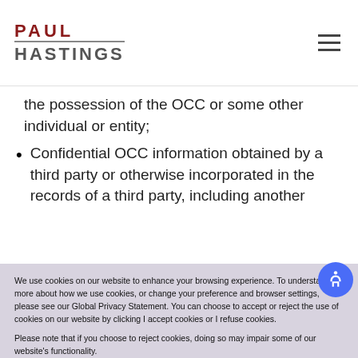PAUL HASTINGS
the possession of the OCC or some other individual or entity;
Confidential OCC information obtained by a third party or otherwise incorporated in the records of a third party, including another
We use cookies on our website to enhance your browsing experience. To understand more about how we use cookies, or change your preference and browser settings, please see our Global Privacy Statement. You can choose to accept or reject the use of cookies on our website by clicking I accept cookies or I refuse cookies.
Please note that if you choose to reject cookies, doing so may impair some of our website's functionality.